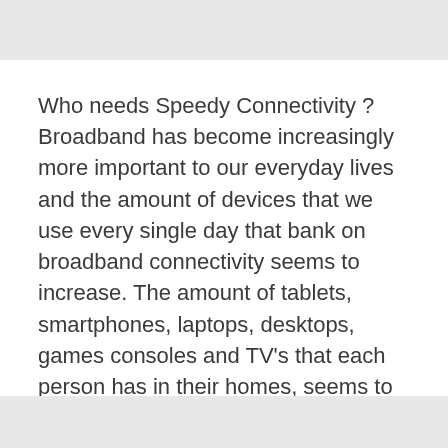Who needs Speedy Connectivity ? Broadband has become increasingly more important to our everyday lives and the amount of devices that we use every single day that bank on broadband connectivity seems to increase. The amount of tablets, smartphones, laptops, desktops, games consoles and TV's that each person has in their homes, seems to increase … Read more